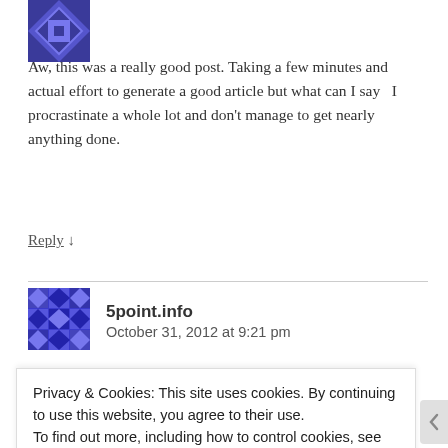[Figure (illustration): Partial avatar image visible at top-left, blue geometric pattern icon]
Aw, this was a really good post. Taking a few minutes and actual effort to generate a good article but what can I say   I procrastinate a whole lot and don't manage to get nearly anything done.
Reply ↓
[Figure (illustration): Avatar icon for 5point.info, blue geometric quilt-pattern square]
5point.info
October 31, 2012 at 9:21 pm
Privacy & Cookies: This site uses cookies. By continuing to use this website, you agree to their use.
To find out more, including how to control cookies, see here: Cookie Policy
Close and accept